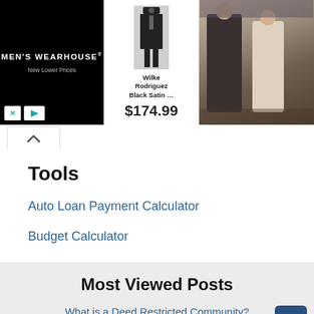[Figure (screenshot): Men's Wearhouse advertisement banner showing a suit with price $174.99 and a couple dressed formally]
Tools
Auto Loan Payment Calculator
Budget Calculator
Most Viewed Posts
What is a Deed Restricted Community?
How Many Mortgages Can You Have at Once?